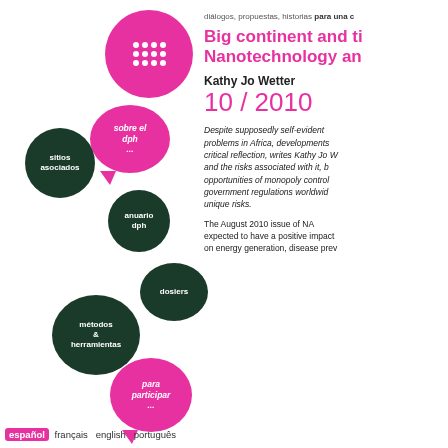[Figure (illustration): DPH website navigation bubbles: large pink circle with dph dot logo, speech bubble 'sobre el dph...', dark circle 'sitios asociados', dark circle 'anuario dph', dark circle 'dosiers', dark circle 'métodos & herramientas', pink speech bubble 'para participar...']
diálogos, propuestas, historias para una
Big continent and ti... Nanotechnology an...
Kathy Jo Wetter
10 / 2010
Despite supposedly self-evident problems in Africa, developments... critical reflection, writes Kathy Jo W... and the risks associated with it, b... opportunities of monopoly control... government regulations worldwid... unique risks.
The August 2010 issue of NA... expected to have a positive impact... on energy generation, disease prev...
español  français  english  português